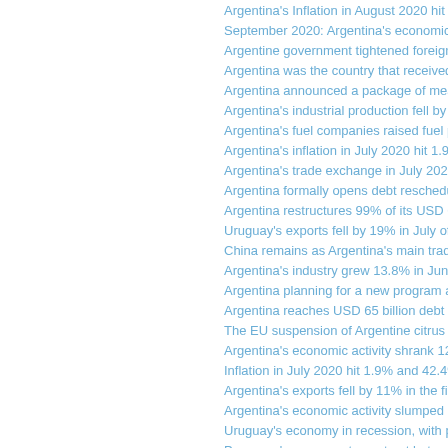Argentina's Inflation in August 2020 hit 2...
September 2020: Argentina's economic ac...
Argentine government tightened foreign c...
Argentina was the country that received th...
Argentina announced a package of measur...
Argentina's industrial production fell by 6...
Argentina's fuel companies raised fuel pri...
Argentina's inflation in July 2020 hit 1.9%...
Argentina's trade exchange in July 2020 sh...
Argentina formally opens debt reschedulin...
Argentina restructures 99% of its USD 66-...
Uruguay's exports fell by 19% in July of 2...
China remains as Argentina's main trading...
Argentina's industry grew 13.8% in June o...
Argentina planning for a new program agr...
Argentina reaches USD 65 billion debt res...
The EU suspension of Argentine citrus imp...
Argentina's economic activity shrank 12.3...
Inflation in July 2020 hit 1.9% and 42.4%...
Argentina's exports fell by 11% in the firs...
Argentina's economic activity slumped 20...
Uruguay's economy in recession, with par...
Paraguay's economy to contract between 3...
Paraguay's exports fell by 21.8% in May 2...
Measures to tackle COVID-19 equivalent...
Argentina's economy contracted by 5.4% a...
Latin-American GDP will drop 9.1% this y...
Inflation in June hit 2.2% and 42.8% annu...